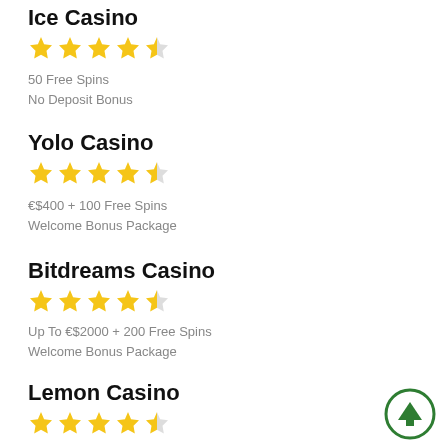Ice Casino
[Figure (other): 4.5 star rating (4 full stars, 1 half star)]
50 Free Spins
No Deposit Bonus
Yolo Casino
[Figure (other): 4.5 star rating (4 full stars, 1 half star)]
€$400 + 100 Free Spins
Welcome Bonus Package
Bitdreams Casino
[Figure (other): 4.5 star rating (4 full stars, 1 half star)]
Up To €$2000 + 200 Free Spins
Welcome Bonus Package
Lemon Casino
[Figure (other): 4.5 star rating (4 full stars, 1 half star)]
20 Free Spins
[Figure (other): Green circle with up arrow button in bottom right corner]